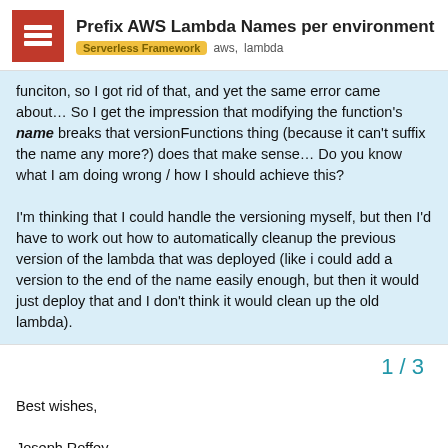Prefix AWS Lambda Names per environment
Serverless Framework  aws,  lambda
funciton, so I got rid of that, and yet the same error came about… So I get the impression that modifying the function's name breaks that versionFunctions thing (because it can't suffix the name any more?) does that make sense… Do you know what I am doing wrong / how I should achieve this?

I'm thinking that I could handle the versioning myself, but then I'd have to work out how to automatically cleanup the previous version of the lambda that was deployed (like i could add a version to the end of the name easily enough, but then it would just deploy that and I don't think it would clean up the old lambda).

Is there something I'm missing?

Best wishes,

Joseph Roffey
1 / 3